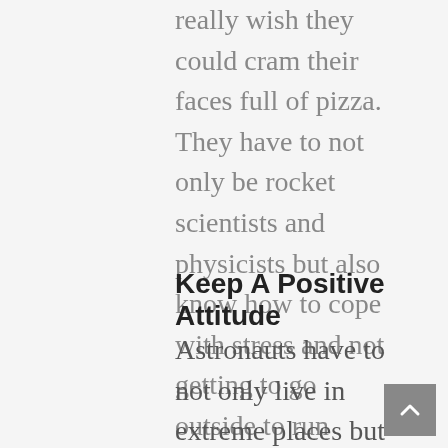really wish they could cram their faces full of pizza. They have to not only be rocket scientists and physicists but also know how to cope with stress and not getting to go outside to run around in the summer sprinklers. So here are a few tips from those who have not only survived living in isolation but have also done it in zero gravity while researching intergalactic wonders.
Keep A Positive Attitude
Astronauts have to not only live in extreme places but also have to maintain a good attitude no matter what the circumstances. Working together with those you are in isolation with is one of the most important things you can do.